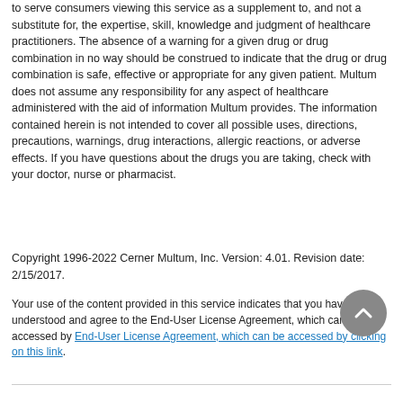to serve consumers viewing this service as a supplement to, and not a substitute for, the expertise, skill, knowledge and judgment of healthcare practitioners. The absence of a warning for a given drug or drug combination in no way should be construed to indicate that the drug or drug combination is safe, effective or appropriate for any given patient. Multum does not assume any responsibility for any aspect of healthcare administered with the aid of information Multum provides. The information contained herein is not intended to cover all possible uses, directions, precautions, warnings, drug interactions, allergic reactions, or adverse effects. If you have questions about the drugs you are taking, check with your doctor, nurse or pharmacist.
Copyright 1996-2022 Cerner Multum, Inc. Version: 4.01. Revision date: 2/15/2017.
Your use of the content provided in this service indicates that you have read, understood and agree to the End-User License Agreement, which can be accessed by End-User License Agreement, which can be accessed by clicking on this link.